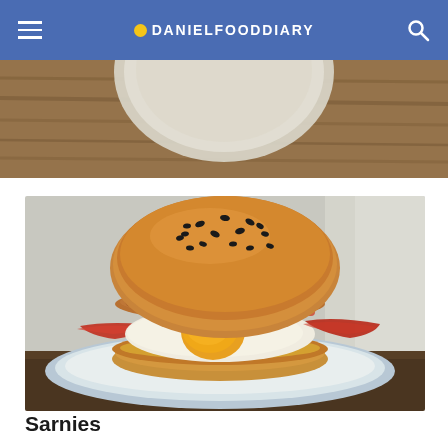DANIELFOODDIARY
[Figure (photo): Partial top photo showing a bowl on a wooden table background]
[Figure (photo): A breakfast sandwich/sarnie with a sesame seed bun, fried egg with runny yolk, bacon, and toppings on a blue-rimmed white plate on a wooden table]
Sarnies